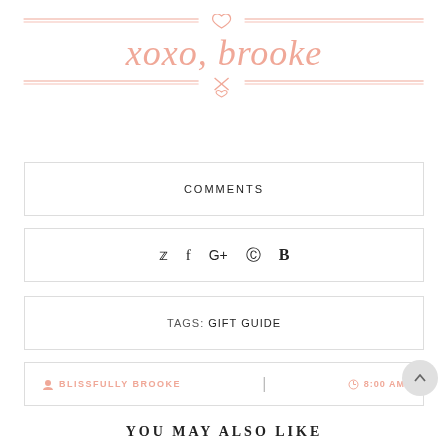xoxo, brooke
COMMENTS
[Figure (infographic): Social media icons: Twitter, Facebook, Google+, Pinterest, Bloglovin]
TAGS: GIFT GUIDE
BLISSFULLY BROOKE | 8:00 AM
YOU MAY ALSO LIKE